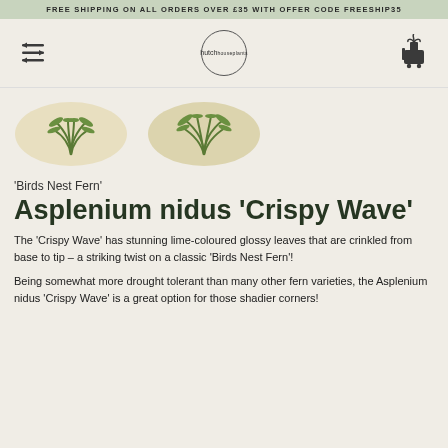FREE SHIPPING ON ALL ORDERS OVER £35 WITH OFFER CODE FREESHIP35
[Figure (logo): Hutch houseplants logo - hamburger menu icon, circular hutch logo, shopping cart icon with plant]
[Figure (photo): Two product thumbnail images of Birds Nest Fern plants on cream oval backgrounds]
'Birds Nest Fern'
Asplenium nidus 'Crispy Wave'
The 'Crispy Wave' has stunning lime-coloured glossy leaves that are crinkled from base to tip – a striking twist on a classic 'Birds Nest Fern'!
Being somewhat more drought tolerant than many other fern varieties, the Asplenium nidus 'Crispy Wave' is a great option for those shadier corners!